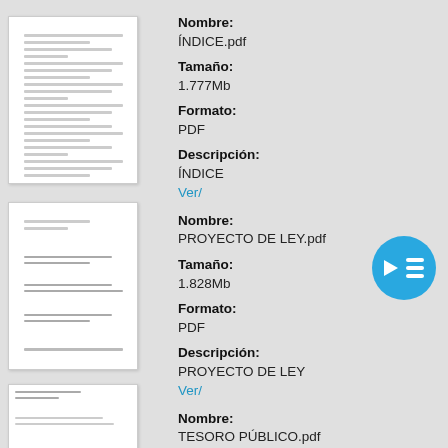[Figure (illustration): Thumbnail preview of ÍNDICE.pdf document]
Nombre:
ÍNDICE.pdf
Tamaño:
1.777Mb
Formato:
PDF
Descripción:
ÍNDICE
Ver/
[Figure (illustration): Thumbnail preview of PROYECTO DE LEY.pdf document]
Nombre:
PROYECTO DE LEY.pdf
Tamaño:
1.828Mb
Formato:
PDF
Descripción:
PROYECTO DE LEY
Ver/
[Figure (illustration): Thumbnail preview of TESORO PÚBLICO.pdf document]
Nombre:
TESORO PÚBLICO.pdf